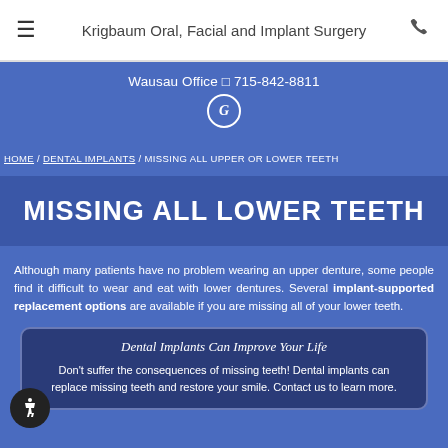Krigbaum Oral, Facial and Implant Surgery
Wausau Office 715-842-8811
HOME / DENTAL IMPLANTS / MISSING ALL UPPER OR LOWER TEETH
MISSING ALL LOWER TEETH
Although many patients have no problem wearing an upper denture, some people find it difficult to wear and eat with lower dentures. Several implant-supported replacement options are available if you are missing all of your lower teeth.
Dental Implants Can Improve Your Life
Don't suffer the consequences of missing teeth! Dental implants can replace missing teeth and restore your smile. Contact us to learn more.